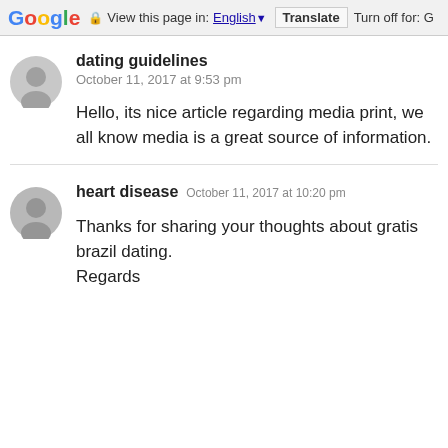Google  View this page in: English [▼]  Translate  Turn off for: G
dating guidelines
October 11, 2017 at 9:53 pm
Hello, its nice article regarding media print, we all know media is a great source of information.
heart disease
October 11, 2017 at 10:20 pm
Thanks for sharing your thoughts about gratis brazil dating.
Regards